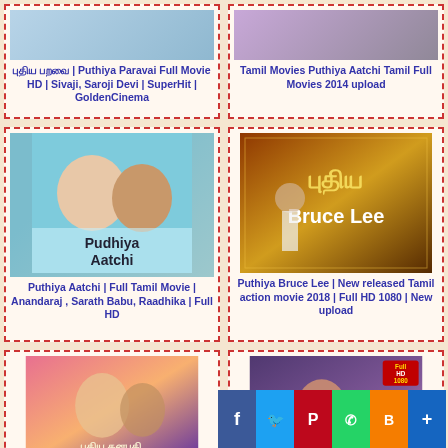[Figure (photo): Thumbnail of Pudhiya Paravai Full Movie HD with Tamil actors]
புதிய பறவை | Puthiya Paravai Full Movie HD | Sivaji, Saroji Devi | SuperHit | GoldenCinema
[Figure (photo): Thumbnail of Tamil Movies Puthiya Aatchi Tamil Full Movies 2014 upload]
Tamil Movies Puthiya Aatchi Tamil Full Movies 2014 upload
[Figure (photo): Pudhiya Aatchi movie poster with two actors and text Pudhiya Aatchi]
Puthiya Aatchi | Full Tamil Movie | Anandaraj , Sarath Babu, Raadhika | Full HD
[Figure (photo): Puthiya Bruce Lee action movie poster with fighter and golden coins]
Puthiya Bruce Lee | New released Tamil action movie 2018 | Full HD 1080 | New upload
[Figure (photo): Puthiya Kanabathi movie thumbnail with dancing couple in colorful attire]
[Figure (photo): Puthiya Vaarippugal movie thumbnail with actress, Full HD 1080 badge]